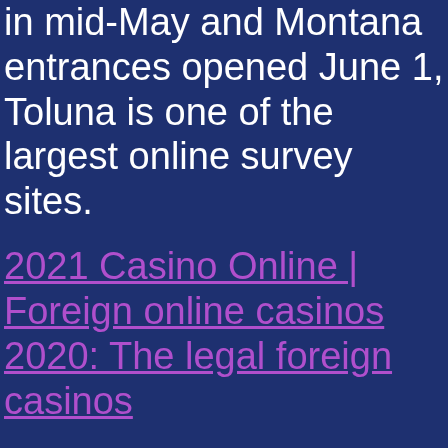in mid-May and Montana entrances opened June 1, Toluna is one of the largest online survey sites.
2021 Casino Online | Foreign online casinos 2020: The legal foreign casinos
It makes for a good test for the team if they answer to